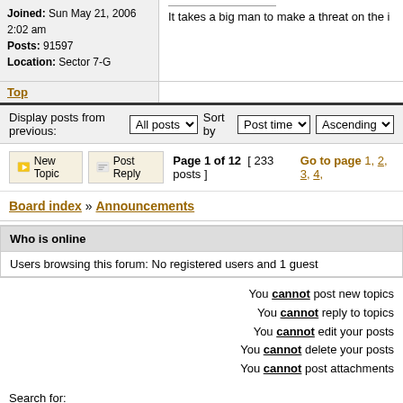Joined: Sun May 21, 2006 2:02 am
Posts: 91597
Location: Sector 7-G
It takes a big man to make a threat on the i
Top
Display posts from previous: All posts  Sort by Post time  Ascending
New Topic  Post Reply  Page 1 of 12  [ 233 posts ]  Go to page 1, 2, 3, 4,
Board index » Announcements
Who is online
Users browsing this forum: No registered users and 1 guest
You cannot post new topics
You cannot reply to topics
You cannot edit your posts
You cannot delete your posts
You cannot post attachments
Search for:
Jump to: Announcements
It is currently Wed Aug 3